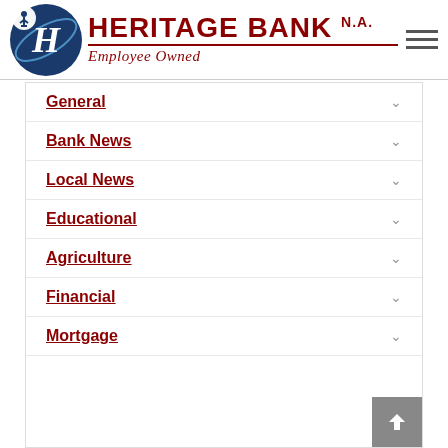[Figure (logo): Heritage Bank N.A. logo with blue circle containing stylized H letter and text 'HERITAGE BANK N.A.' in dark red with 'Employee Owned' tagline in italic]
General
Bank News
Local News
Educational
Agriculture
Financial
Mortgage